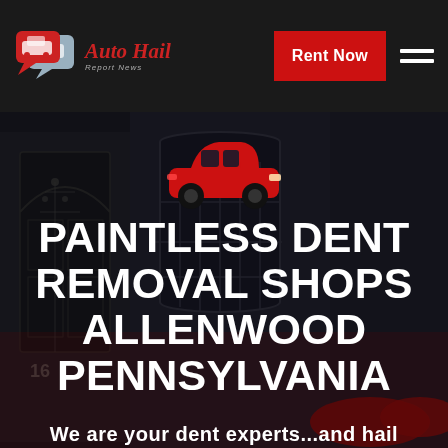[Figure (logo): Auto Hail Report News logo with two overlapping speech bubble car icons in red/white on left, stylized italic red text 'Auto Hail' with grey subtitle 'Report News']
Rent Now
PAINTLESS DENT REMOVAL SHOPS ALLENWOOD PENNSYLVANIA
We are your dent experts...and hail